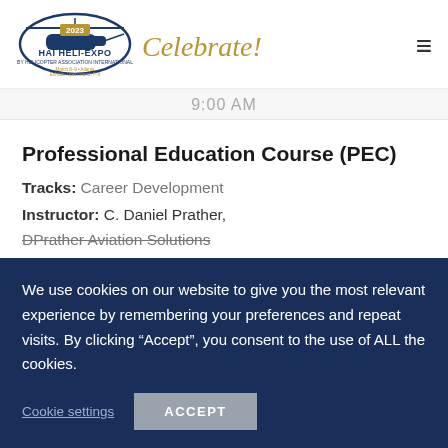[Figure (logo): HAI HELI-EXPO 2023 logo with helicopter silhouette, blue and gold coloring, 'March 8-9 Atlanta, Exhibits Open March 7-9' text, alongside gold italic 'Celebrate!' script text]
9:00 AM
Professional Education Course (PEC)
Tracks: Career Development
Instructor: C. Daniel Prather, DPrather Aviation Solutions
We use cookies on our website to give you the most relevant experience by remembering your preferences and repeat visits. By clicking “Accept”, you consent to the use of ALL the cookies.
Cookie settings
ACCEPT